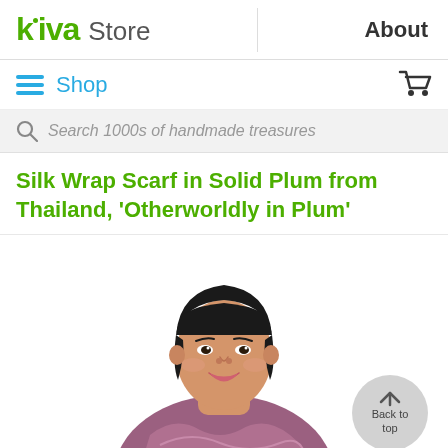kiva Store | About
Shop
Search 1000s of handmade treasures
Silk Wrap Scarf in Solid Plum from Thailand, 'Otherworldly in Plum'
[Figure (photo): Woman smiling, wearing a plum/mauve silk wrap scarf, white background. A 'Back to top' button overlay in grey circle is in the bottom right.]